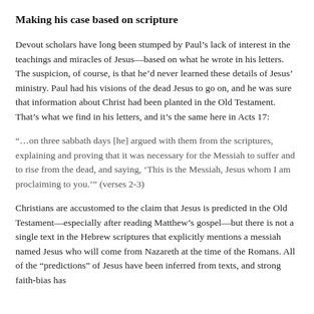Making his case based on scripture
Devout scholars have long been stumped by Paul’s lack of interest in the teachings and miracles of Jesus—based on what he wrote in his letters. The suspicion, of course, is that he’d never learned these details of Jesus’ ministry. Paul had his visions of the dead Jesus to go on, and he was sure that information about Christ had been planted in the Old Testament. That’s what we find in his letters, and it’s the same here in Acts 17:
“…on three sabbath days [he] argued with them from the scriptures, explaining and proving that it was necessary for the Messiah to suffer and to rise from the dead, and saying, ‘This is the Messiah, Jesus whom I am proclaiming to you.’” (verses 2-3)
Christians are accustomed to the claim that Jesus is predicted in the Old Testament—especially after reading Matthew’s gospel—but there is not a single text in the Hebrew scriptures that explicitly mentions a messiah named Jesus who will come from Nazareth at the time of the Romans. All of the “predictions” of Jesus have been inferred from texts, and strong faith-bias has